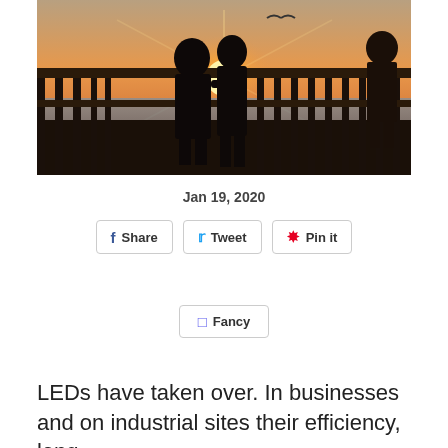[Figure (photo): Silhouetted people standing on a wooden pier/deck railing at sunset over water, with warm golden light and a bird in the sky]
Jan 19, 2020
Share   Tweet   Pin it
Fancy
LEDs have taken over. In businesses and on industrial sites their efficiency, long